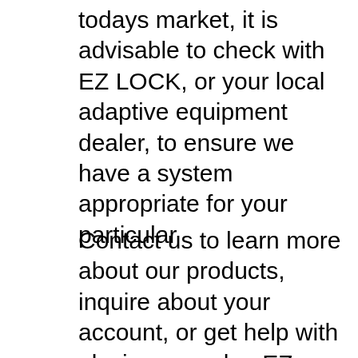todays market, it is advisable to check with EZ LOCK, or your local adaptive equipment dealer, to ensure we have a system appropriate for your particular
Contact us to learn more about our products, inquire about your account, or get help with placing an order. EZ Lock Wheelchair Docking Systems. Since 1986, EZ Lock's Wheelchair Docking System has been the standard of protection and self-reliance for thousands. Its versatile and secure Docking System is as dependable as manual tie-down systems, yet much more convenient. Sophisticated electronic wiring and controls ensure the wheelchair is properly